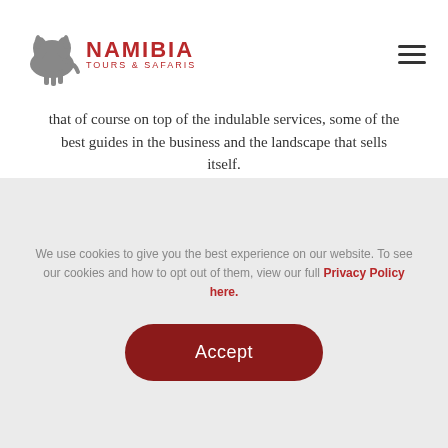NAMIBIA TOURS & SAFARIS
that of course on top of the indulable services, some of the best guides in the business and the landscape that sells itself.
Known at the “Place of the Elephants”, Gonarezhou National Park is home to over 8,000 of them. They’re everywhere and even from the viewing deck you can enjoy seeing them along with wallowing hippos and lazy crocs and there’s more. Much more. You could see lions, cheetah, wild dogs, giraffe, buffalo, impala and the list continues. Not to mention the amazing bird life. It’s simply surreal.
We use cookies to give you the best experience on our website. To see our cookies and how to opt out of them, view our full Privacy Policy here.
Accept